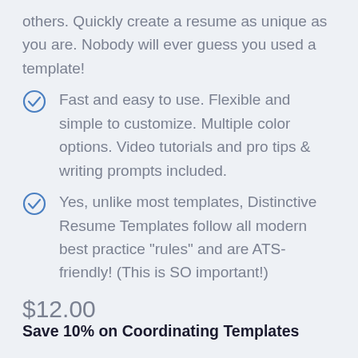others. Quickly create a resume as unique as you are. Nobody will ever guess you used a template!
Fast and easy to use. Flexible and simple to customize. Multiple color options. Video tutorials and pro tips & writing prompts included.
Yes, unlike most templates, Distinctive Resume Templates follow all modern best practice "rules" and are ATS-friendly! (This is SO important!)
$12.00
Save 10% on Coordinating Templates